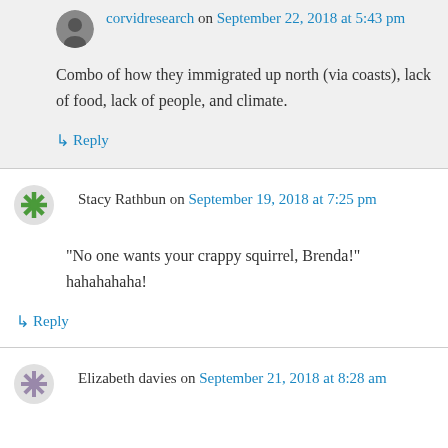corvidresearch on September 22, 2018 at 5:43 pm
Combo of how they immigrated up north (via coasts), lack of food, lack of people, and climate.
↳ Reply
Stacy Rathbun on September 19, 2018 at 7:25 pm
“No one wants your crappy squirrel, Brenda!” hahahahaha!
↳ Reply
Elizabeth davies on September 21, 2018 at 8:28 am